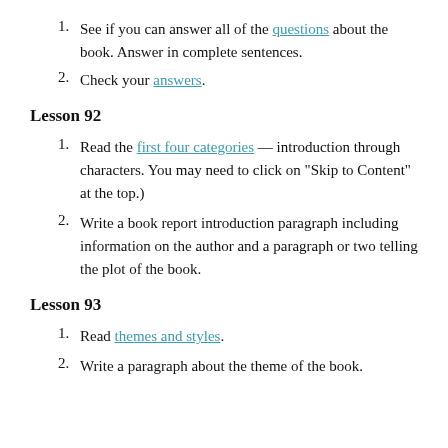See if you can answer all of the questions about the book. Answer in complete sentences.
Check your answers.
Lesson 92
Read the first four categories — introduction through characters. You may need to click on “Skip to Content” at the top.)
Write a book report introduction paragraph including information on the author and a paragraph or two telling the plot of the book.
Lesson 93
Read themes and styles.
Write a paragraph about the theme of the book.